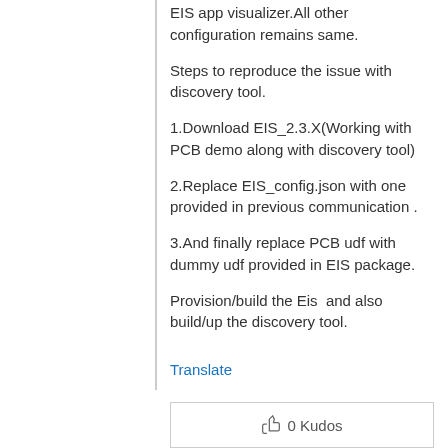EIS app visualizer.All other configuration remains same.
Steps to reproduce the issue with discovery tool.
1.Download EIS_2.3.X(Working with PCB demo along with discovery tool)
2.Replace EIS_config.json with one provided in previous communication .
3.And finally replace PCB udf with dummy udf provided in EIS package.
Provision/build the Eis  and also build/up the discovery tool.
Translate
0 Kudos